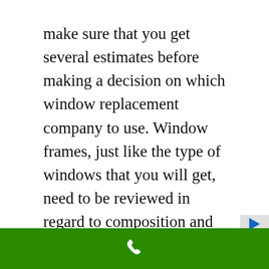make sure that you get several estimates before making a decision on which window replacement company to use. Window frames, just like the type of windows that you will get, need to be reviewed in regard to composition and style. A very popular choice with people that do cosmetic reconstruction of their homes is to choose wooden frames. Using vinyl is a great choice if you are looking to cut your heating bill. Vinyl is so popular and widespread that over the years it's cost has greatly reduced making it affordable for everyone. Aluminum frames are not advisable, especially if you are trying to reduce sound, heat exchange, and